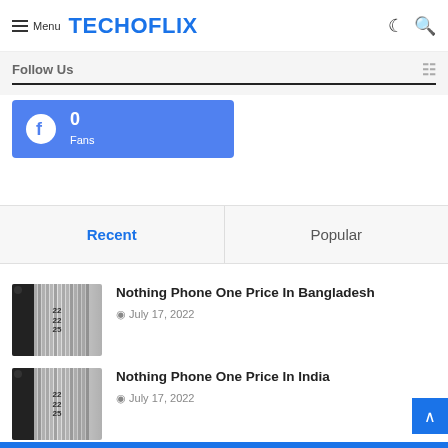Menu TECHOFLIX
Follow Us
0 Fans
Recent | Popular
Nothing Phone One Price In Bangladesh
July 17, 2022
Nothing Phone One Price In India
July 17, 2022